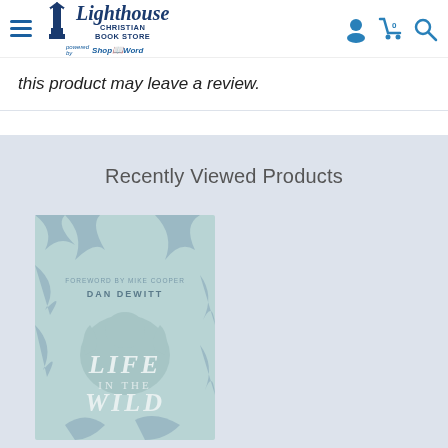[Figure (logo): Lighthouse Christian Book Store logo with hamburger menu and icons]
this product may leave a review.
Recently Viewed Products
[Figure (photo): Book cover: Life in the Wild by Dan DeWitt, foreword by Mike Cooper. Light teal cover with illustrated wild animal silhouettes.]